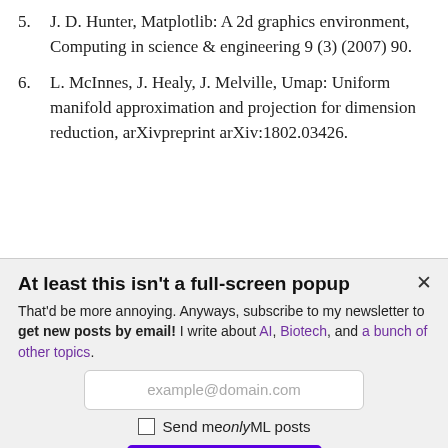5. J. D. Hunter, Matplotlib: A 2d graphics environment, Computing in science & engineering 9 (3) (2007) 90.
6. L. McInnes, J. Healy, J. Melville, Umap: Uniform manifold approximation and projection for dimension reduction, arXivpreprint arXiv:1802.03426.
At least this isn't a full-screen popup
That'd be more annoying. Anyways, subscribe to my newsletter to get new posts by email! I write about AI, Biotech, and a bunch of other topics.
example@domain.com
Send me only ML posts
SUBMIT
This site is protected by reCAPTCHA and the Google Privacy Policy and Terms of Service apply.